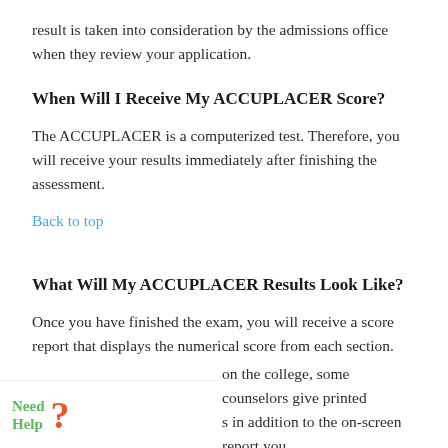result is taken into consideration by the admissions office when they review your application.
When Will I Receive My ACCUPLACER Score?
The ACCUPLACER is a computerized test. Therefore, you will receive your results immediately after finishing the assessment.
Back to top
What Will My ACCUPLACER Results Look Like?
Once you have finished the exam, you will receive a score report that displays the numerical score from each section. Depending on the college, some counselors give printed copies in addition to the on-screen report you receive at the end of the test.